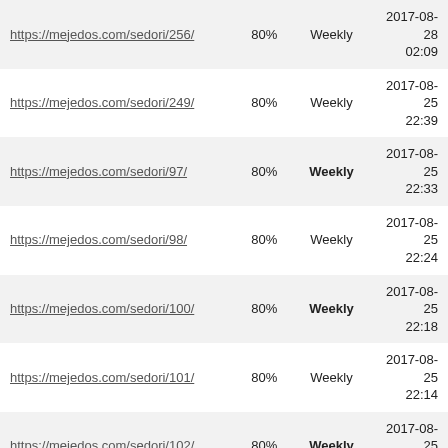| https://mejedos.com/sedori/256/ | 80% | Weekly | 2017-08-28 02:09 |
| https://mejedos.com/sedori/249/ | 80% | Weekly | 2017-08-25 22:39 |
| https://mejedos.com/sedori/97/ | 80% | Weekly | 2017-08-25 22:33 |
| https://mejedos.com/sedori/98/ | 80% | Weekly | 2017-08-25 22:24 |
| https://mejedos.com/sedori/100/ | 80% | Weekly | 2017-08-25 22:18 |
| https://mejedos.com/sedori/101/ | 80% | Weekly | 2017-08-25 22:14 |
| https://mejedos.com/sedori/102/ | 80% | Weekly | 2017-08-25 08:03 |
| https://mejedos.com/sedori/103/ | 80% | Weekly | 2017-08-25 07:56 |
| https://mejedos.com/sedori/104/ | 80% | Weekly | 2017-08-25 07:52 |
| https://mejedos.com/sedori/105/ | 80% | Weekly | 2017-08-25 07:28 |
| https://mejedos.com/sedori/106/ | 80% | Weekly | 2017-08-25 07:29 |
| https://mejedos.com/sedori/107/ | 80% | Weekly | 2017-08-25 07:30 |
| https://mejedos.com/sedori/108/ | 80% | Weekly | 2017-08-25 07:30 |